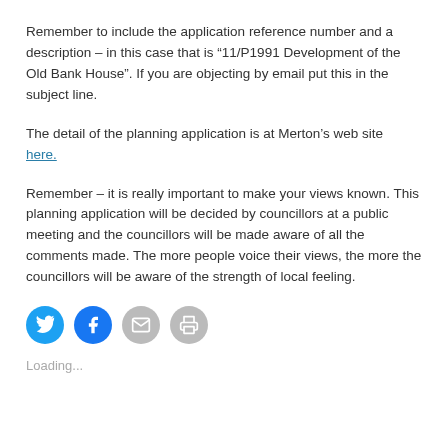Remember to include the application reference number and a description – in this case that is “11/P1991 Development of the Old Bank House”. If you are objecting by email put this in the subject line.
The detail of the planning application is at Merton’s web site here.
Remember – it is really important to make your views known. This planning application will be decided by councillors at a public meeting and the councillors will be made aware of all the comments made. The more people voice their views, the more the councillors will be aware of the strength of local feeling.
[Figure (other): Social sharing buttons: Twitter (blue circle), Facebook (blue circle), Email (grey circle), Print (grey circle)]
Loading...